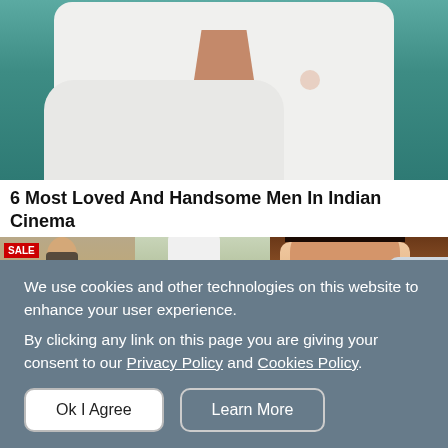[Figure (photo): Top portion of a person wearing a white open-collar shirt with floral prints, against a teal/blue-green background]
6 Most Loved And Handsome Men In Indian Cinema
[Figure (photo): Two photos side by side: celebrity women in street styles, one wearing beige/cream outfit with mask, one in white top and black skirt]
[Figure (photo): Woman eating a burger, laughing, with another person in background]
Baby Boom: The Stars Are...
6 Secret Origin Stories Of
We use cookies and other technologies on this website to enhance your user experience.
By clicking any link on this page you are giving your consent to our Privacy Policy and Cookies Policy.
Ok I Agree
Learn More